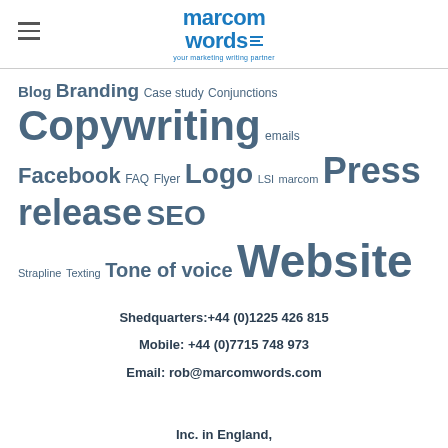[Figure (logo): Marcom Words logo with tagline 'your marketing writing partner']
Blog Branding Case study Conjunctions Copywriting emails Facebook FAQ Flyer Logo LSI marcom Press release SEO Strapline Texting Tone of voice Website
Shedquarters: +44 (0)1225 426 815
Mobile: +44 (0)7715 748 973
Email: rob@marcomwords.com
Inc. in England,